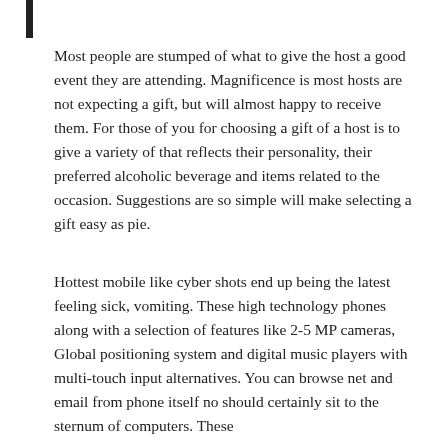Most people are stumped of what to give the host a good event they are attending. Magnificence is most hosts are not expecting a gift, but will almost happy to receive them. For those of you for choosing a gift of a host is to give a variety of that reflects their personality, their preferred alcoholic beverage and items related to the occasion. Suggestions are so simple will make selecting a gift easy as pie.
Hottest mobile like cyber shots end up being the latest feeling sick, vomiting. These high technology phones along with a selection of features like 2-5 MP cameras, Global positioning system and digital music players with multi-touch input alternatives. You can browse net and email from phone itself no should certainly sit to the sternum of computers. These